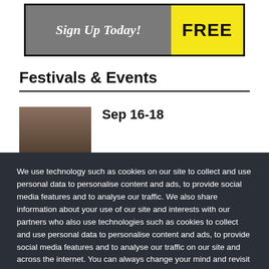[Figure (other): Advertisement banner: gray background with 'Sign Up Today!' text in white italic, and a yellow box with bold black 'FREE' text]
Festivals & Events
[Figure (photo): Partial photo of a person's face/head in dark tones]
Sep 16-18
We use technology such as cookies on our site to collect and use personal data to personalise content and ads, to provide social media features and to analyse our traffic. We also share information about your use of our site and interests with our partners who also use technologies such as cookies to collect and use personal data to personalise content and ads, to provide social media features and to analyse our traffic on our site and across the internet. You can always change your mind and revisit your choices.
Manage Options
I Accept